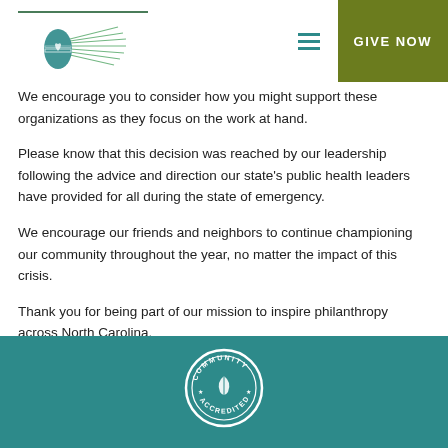GIVE NOW
We encourage you to consider how you might support these organizations as they focus on the work at hand.
Please know that this decision was reached by our leadership following the advice and direction our state's public health leaders have provided for all during the state of emergency.
We encourage our friends and neighbors to continue championing our community throughout the year, no matter the impact of this crisis.
Thank you for being part of our mission to inspire philanthropy across North Carolina.
[Figure (logo): Community Accredited seal/badge logo in white on teal background]